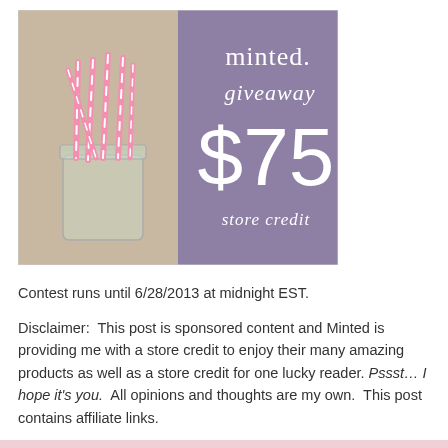[Figure (illustration): Minted giveaway promotional image showing pink striped paper straws in a glass mason jar on the left, and a purple background on the right with white script text reading 'minted. giveaway $75 store credit']
Contest runs until 6/28/2013 at midnight EST.
Disclaimer:  This post is sponsored content and Minted is providing me with a store credit to enjoy their many amazing products as well as a store credit for one lucky reader. Pssst… I hope it's you.  All opinions and thoughts are my own.  This post contains affiliate links.
a Rafflecopter giveaway